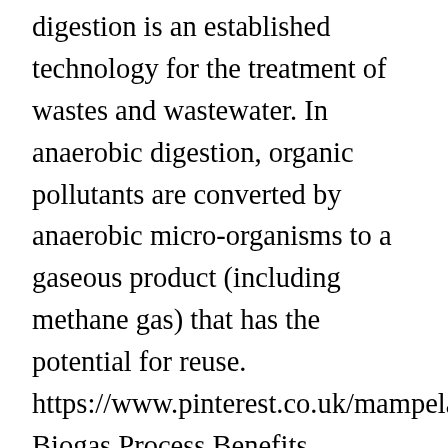digestion is an established technology for the treatment of wastes and wastewater. In anaerobic digestion, organic pollutants are converted by anaerobic micro-organisms to a gaseous product (including methane gas) that has the potential for reuse. https://www.pinterest.co.uk/mampelam/biogas/ Biogas Process Benefits Complexities and Investment Incentives, French Biomethane Plant Commissioned in Normandy by WELTEC BIOPOWER, Winners of AD and Biogas Industry Awards 2020, Landia Digester Mixing Systems Beat the Virus and Go Ahead in China, Anaerobic Digestion of Kitchen Waste – All You Need to Know, Future Biogas Orders More Borger Pumps and Separators, Digester